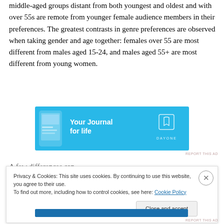middle-aged groups distant from both youngest and oldest and with over 55s are remote from younger female audience members in their preferences. The greatest contrasts in genre preferences are observed when taking gender and age together: females over 55 are most different from males aged 15-24, and males aged 55+ are most different from young women.
[Figure (other): Advertisement banner for DayOne journal app with light blue background, phone graphic on left, 'Your Journal for life' text in center, and DayOne logo/icon on right]
A few differences can...
Privacy & Cookies: This site uses cookies. By continuing to use this website, you agree to their use.
To find out more, including how to control cookies, see here: Cookie Policy